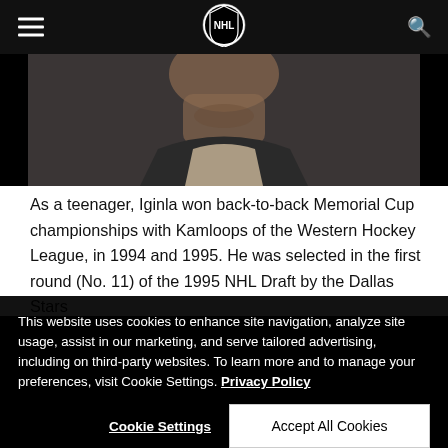NHL navigation header with hamburger menu, NHL logo, and search icon
[Figure (photo): Cropped photo of a man (Jarome Iginla) from the chin down, wearing a suit, dark background]
As a teenager, Iginla won back-to-back Memorial Cup championships with Kamloops of the Western Hockey League, in 1994 and 1995. He was selected in the first round (No. 11) of the 1995 NHL Draft by the Dallas Stars
This website uses cookies to enhance site navigation, analyze site usage, assist in our marketing, and serve tailored advertising, including on third-party websites. To learn more and to manage your preferences, visit Cookie Settings. Privacy Policy
Cookie Settings
Accept All Cookies